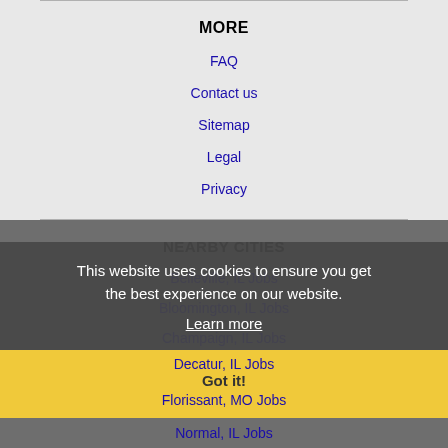MORE
FAQ
Contact us
Sitemap
Legal
Privacy
NEARBY CITIES
Belleville, IL Jobs
Bloomington, IL Jobs
Champaign, IL Jobs
Chesterfield, MO Jobs
Decatur, IL Jobs
Florissant, MO Jobs
Normal, IL Jobs
O'Fallon, MO Jobs
This website uses cookies to ensure you get the best experience on our website. Learn more Got it!